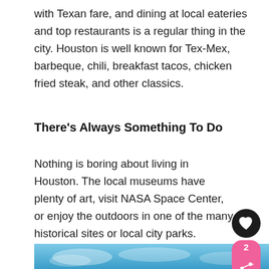with Texan fare, and dining at local eateries and top restaurants is a regular thing in the city. Houston is well known for Tex-Mex, barbeque, chili, breakfast tacos, chicken fried steak, and other classics.
There's Always Something To Do
Nothing is boring about living in Houston. The local museums have plenty of art, visit NASA Space Center, or enjoy the outdoors in one of the many historical sites or local city parks. Whatever age you are, there's always something to do in Houston.
[Figure (photo): Blue sky photo strip at bottom of page]